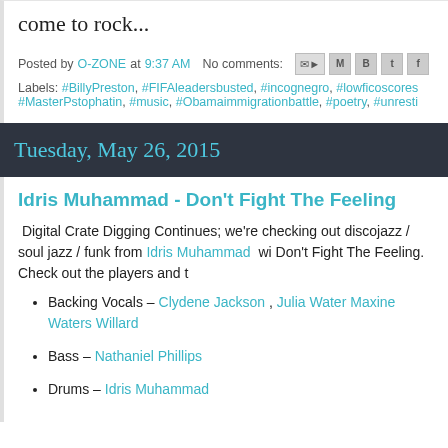come to rock...
Posted by O-ZONE at 9:37 AM   No comments:
Labels: #BillyPreston, #FIFAleadersbusted, #incognegro, #lowficoscores, #MasterPstophatin, #music, #Obamaimmigrationbattle, #poetry, #unresti
Tuesday, May 26, 2015
Idris Muhammad - Don't Fight The Feeling
Digital Crate Digging Continues; we're checking out discojazz / soul jazz / funk from Idris Muhammad wi Don't Fight The Feeling. Check out the players and t
Backing Vocals – Clydene Jackson , Julia Water Maxine Waters Willard
Bass – Nathaniel Phillips
Drums – Idris Muhammad